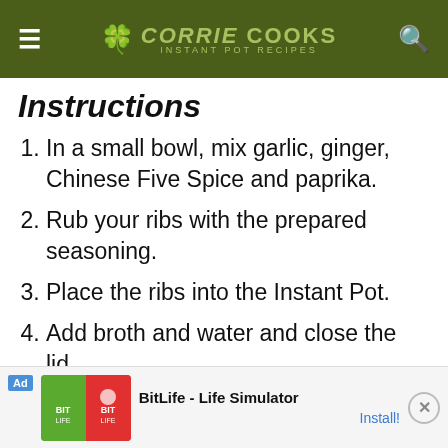CORRIE COOKS
Instructions
In a small bowl, mix garlic, ginger, Chinese Five Spice and paprika.
Rub your ribs with the prepared seasoning.
Place the ribs into the Instant Pot.
Add broth and water and close the lid.
Cook on high pressure for 20 minutes (depending on the ribs size).
In the meantime, heat soy sauce,
[Figure (other): Advertisement banner for BitLife - Life Simulator app with green and red imagery]